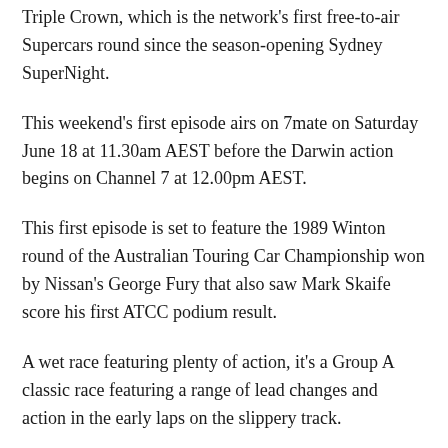Triple Crown, which is the network's first free-to-air Supercars round since the season-opening Sydney SuperNight.
This weekend's first episode airs on 7mate on Saturday June 18 at 11.30am AEST before the Darwin action begins on Channel 7 at 12.00pm AEST.
This first episode is set to feature the 1989 Winton round of the Australian Touring Car Championship won by Nissan's George Fury that also saw Mark Skaife score his first ATCC podium result.
A wet race featuring plenty of action, it's a Group A classic race featuring a range of lead changes and action in the early laps on the slippery track.